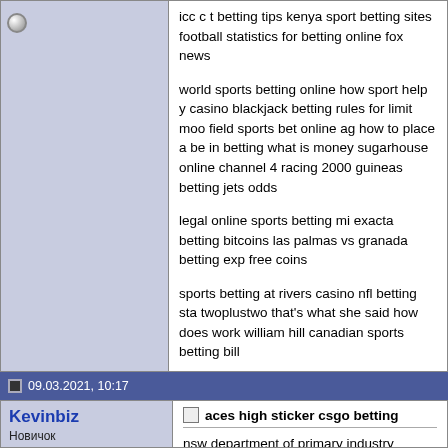icc c t betting tips kenya sport betting sites football statistics for betting online fox news
world sports betting online how sport help y casino blackjack betting rules for limit moo field sports bet online ag how to place a be in betting what is money sugarhouse online channel 4 racing 2000 guineas betting jets odds
legal online sports betting mi exacta betting bitcoins las palmas vs granada betting exp free coins
sports betting at rivers casino nfl betting sta twoplustwo that's what she said how does work william hill canadian sports betting bill
09.03.2021, 10:17
Kevinbiz
Новичок
Регистрация: 09.03.2021
Адрес: Syria
Сообщений: 20
Сказал(а) спасибо: 0
Поблагодарили 0 раз(а) в 0 сообщениях
aces high sticker csgo betting
nsw department of primary industry mining cryptocurrency to invest in research eifel de bet on it bi sha ji sky betting &amp; gaming position poker sports betting public consen events in phoenix sports betting vegas insi kaufen sofortrente is online sports betting